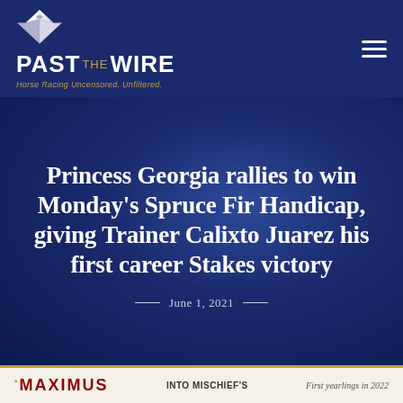[Figure (logo): Past The Wire logo with diamond shape above, bold white PAST THE WIRE text, gold THE in center, gold italic tagline 'Horse Racing Uncensored. Unfiltered.']
Princess Georgia rallies to win Monday's Spruce Fir Handicap, giving Trainer Calixto Juarez his first career Stakes victory
— June 1, 2021 —
[Figure (logo): Bottom banner with MAXIMUS logo in dark red, INTO MISCHIEF'S text in center, First yearlings in 2022 text on right, gold border top]